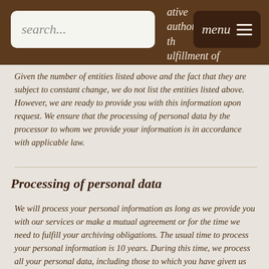search... | ative authorities in th ulfillment of our other obligations. | menu
Given the number of entities listed above and the fact that they are subject to constant change, we do not list the entities listed above. However, we are ready to provide you with this information upon request. We ensure that the processing of personal data by the processor to whom we provide your information is in accordance with applicable law.
Processing of personal data
We will process your personal information as long as we provide you with our services or make a mutual agreement or for the time we need to fulfill your archiving obligations. The usual time to process your personal information is 10 years. During this time, we process all your personal data, including those to which you have given us your consent, unless otherwise specified in individual cases, the consent was not given for another period or the reason for the processing